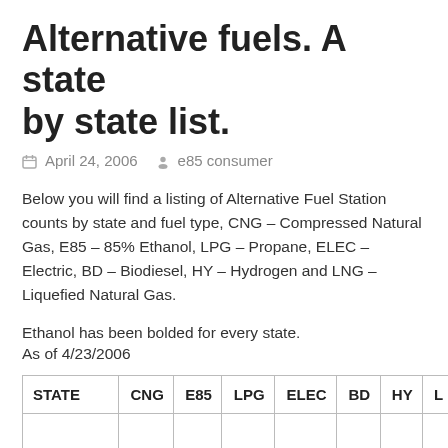Alternative fuels. A state by state list.
April 24, 2006   e85 consumer
Below you will find a listing of Alternative Fuel Station counts by state and fuel type, CNG – Compressed Natural Gas, E85 – 85% Ethanol, LPG – Propane, ELEC – Electric, BD – Biodiesel, HY – Hydrogen and LNG – Liquefied Natural Gas.
Ethanol has been bolded for every state.
As of 4/23/2006
| STATE | CNG | E85 | LPG | ELEC | BD | HY | L |
| --- | --- | --- | --- | --- | --- | --- | --- |
|  |  |  |  |  |  |  |  |
| Alabama | 1 | 0 | 74 | 0 | 0 | 0 |  |